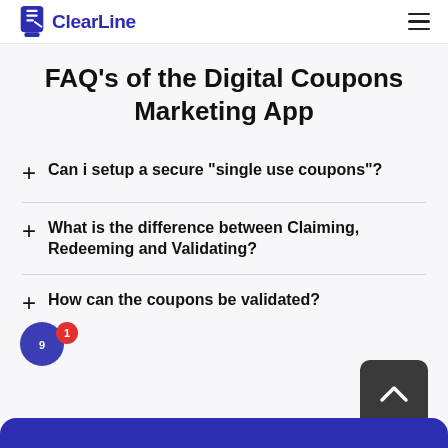ClearLine
FAQ's of the Digital Coupons Marketing App
Can i setup a secure "single use coupons"?
What is the difference between Claiming, Redeeming and Validating?
How can the coupons be validated?